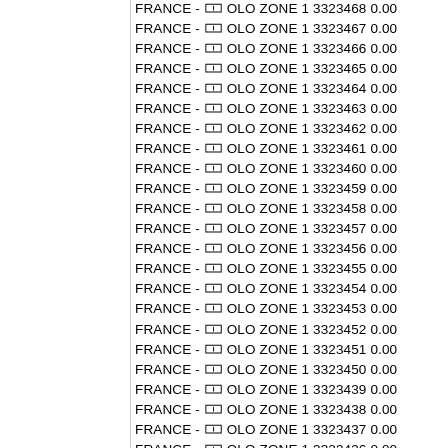FRANCE - OLO ZONE 1 3323468 0.00
FRANCE - OLO ZONE 1 3323467 0.00
FRANCE - OLO ZONE 1 3323466 0.00
FRANCE - OLO ZONE 1 3323465 0.00
FRANCE - OLO ZONE 1 3323464 0.00
FRANCE - OLO ZONE 1 3323463 0.00
FRANCE - OLO ZONE 1 3323462 0.00
FRANCE - OLO ZONE 1 3323461 0.00
FRANCE - OLO ZONE 1 3323460 0.00
FRANCE - OLO ZONE 1 3323459 0.00
FRANCE - OLO ZONE 1 3323458 0.00
FRANCE - OLO ZONE 1 3323457 0.00
FRANCE - OLO ZONE 1 3323456 0.00
FRANCE - OLO ZONE 1 3323455 0.00
FRANCE - OLO ZONE 1 3323454 0.00
FRANCE - OLO ZONE 1 3323453 0.00
FRANCE - OLO ZONE 1 3323452 0.00
FRANCE - OLO ZONE 1 3323451 0.00
FRANCE - OLO ZONE 1 3323450 0.00
FRANCE - OLO ZONE 1 3323439 0.00
FRANCE - OLO ZONE 1 3323438 0.00
FRANCE - OLO ZONE 1 3323437 0.00
FRANCE - OLO ZONE 1 3323436 0.00
FRANCE - OLO ZONE 1 3323435 0.00
FRANCE - OLO ZONE 1 3323434 0.00
FRANCE - OLO ZONE 1 3323433 0.00
FRANCE - OLO ZONE 1 3323432 0.00